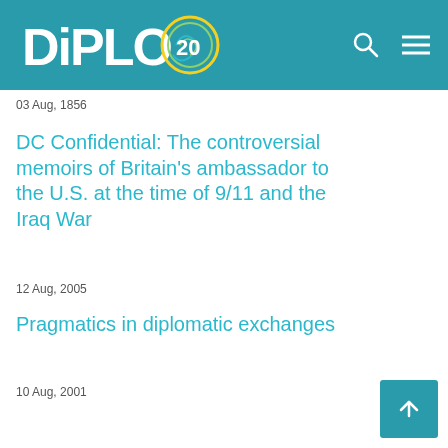DiPLO 20
03 Aug, 1856
DC Confidential: The controversial memoirs of Britain's ambassador to the U.S. at the time of 9/11 and the Iraq War
12 Aug, 2005
Pragmatics in diplomatic exchanges
10 Aug, 2001